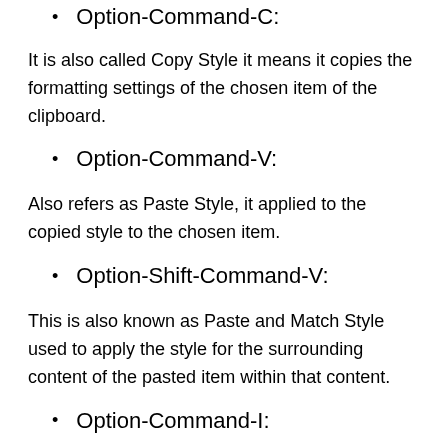Option-Command-C:
It is also called Copy Style it means it copies the formatting settings of the chosen item of the clipboard.
Option-Command-V:
Also refers as Paste Style, it applied to the copied style to the chosen item.
Option-Shift-Command-V:
This is also known as Paste and Match Style used to apply the style for the surrounding content of the pasted item within that content.
Option-Command-I: